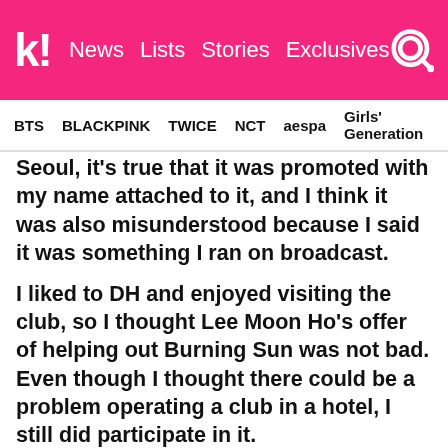k! News  Lists  Stories  Exclusives
BTS  BLACKPINK  TWICE  NCT  aespa  Girls' Generation
Seoul, it's true that it was promoted with my name attached to it, and I think it was also misunderstood because I said it was something I ran on broadcast.
I liked to DH and enjoyed visiting the club, so I thought Lee Moon Ho's offer of helping out Burning Sun was not bad. Even though I thought there could be a problem operating a club in a hotel, I still did participate in it.
The ownership breakdown of Burning Sun is as follows: 42% share by the